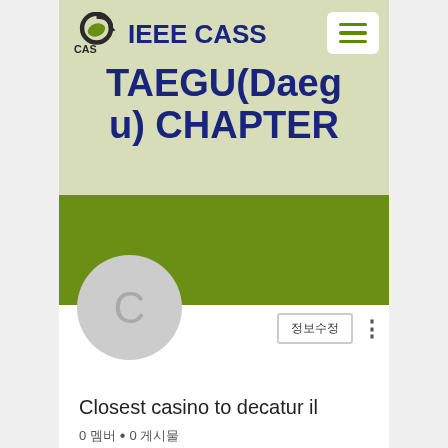[Figure (logo): IEEE CASS logo with circular arrow design and 'CAS' text]
IEEE CASS TAEGU(Daegu) CHAPTER
[Figure (infographic): Hamburger menu button (three horizontal lines) on white rounded rectangle background]
[Figure (photo): Olive green banner background strip]
[Figure (photo): Gray circle avatar with letter C]
정보수정
Closest casino to decatur il
0 멤버 • 0 게시물